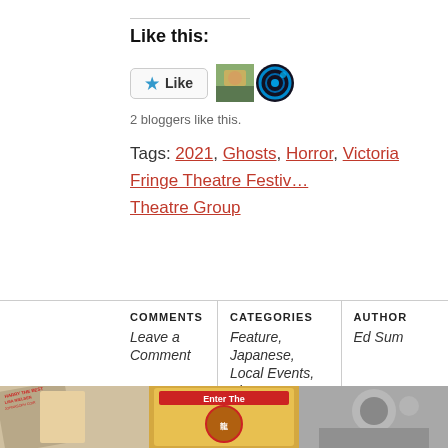Like this:
[Figure (other): WordPress Like button widget with star icon and two blogger avatars]
2 bloggers like this.
Tags: 2021, Ghosts, Horror, Victoria Fringe Theatre Festival, Theatre Group
| COMMENTS | CATEGORIES | AUTHOR |
| --- | --- | --- |
| Leave a Comment | Feature, Japanese, Local Events, Theatre | Ed Sum |
[Figure (photo): Horizontal strip of three partially visible photos: text/posters on left, colorful event poster in center, monochrome photo on right]
[Figure (other): Red circle with number 5]